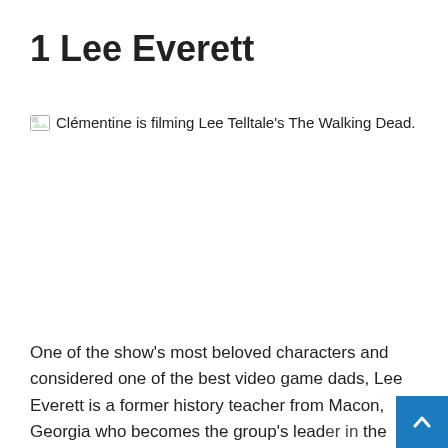1 Lee Everett
[Figure (photo): Broken image placeholder with alt text: Clémentine is filming Lee Telltale's The Walking Dead.]
One of the show's most beloved characters and considered one of the best video game dads, Lee Everett is a former history teacher from Macon, Georgia who becomes the group's leader in the first season. Despite his past of being convicted of murder,